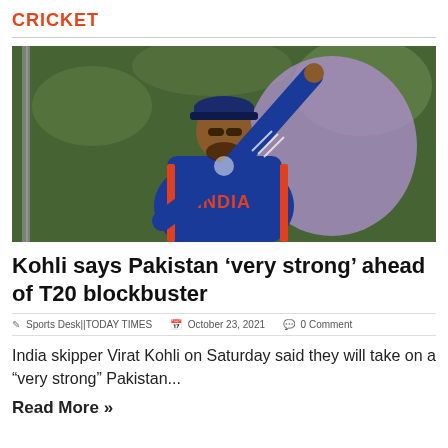CRICKET
[Figure (photo): Virat Kohli in India blue cricket jersey with arm raised, wearing sunglasses and cap, outdoors with green background and purple shape behind him]
Kohli says Pakistan 'very strong' ahead of T20 blockbuster
Sports Desk||TODAY TIMES   October 23, 2021   0 Comment
India skipper Virat Kohli on Saturday said they will take on a "very strong" Pakistan...
Read More »